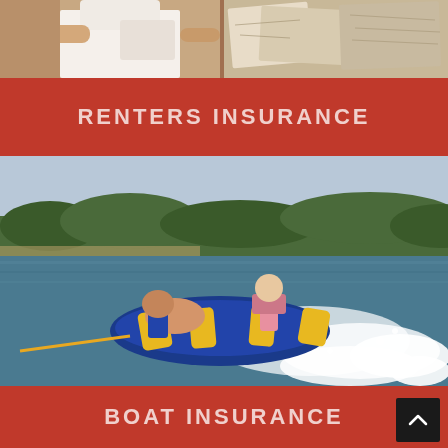[Figure (photo): Top strip photo showing a person holding something indoors and another area with papers/maps on the right side]
RENTERS INSURANCE
[Figure (photo): Two children riding an inflatable tube on a lake being pulled by a boat, with trees in the background]
BOAT INSURANCE